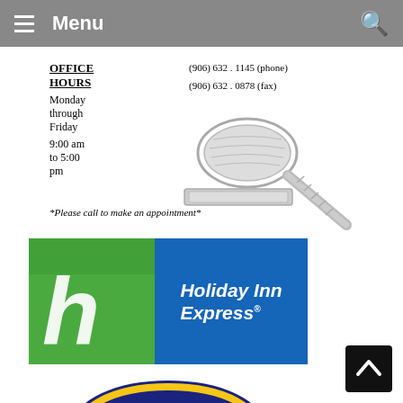Menu
OFFICE HOURS
Monday through Friday
9:00 am to 5:00 pm
(906) 632 . 1145 (phone)
(906) 632 . 0878 (fax)
[Figure (illustration): Gavel illustration in light gray/silver tone]
*Please call to make an appointment*
[Figure (logo): Holiday Inn Express logo with green H symbol on left and blue panel with 'Holiday Inn Express' text on right]
[Figure (logo): Best Western logo partially visible at bottom - dark blue shield shape with yellow border and red crown symbol]
[Figure (other): Back to top button - black square with white upward chevron arrow]